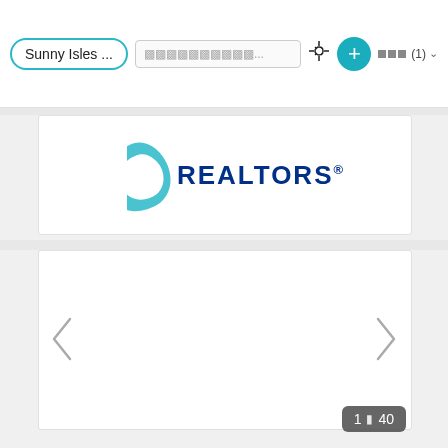[Figure (screenshot): App top navigation bar with search pill 'Sunny Isles ...', a garbled search input field, crosshair/move icon, teal plus button, and filter label with count (1) and dropdown chevron]
[Figure (logo): Realtor.com logo showing partial teal swoosh icon and the word REALTORS in dark navy bold text]
[Figure (screenshot): Real estate listing photo carousel card, currently showing a blank/loading white slide with left and right navigation chevron arrows. Page counter badge shows '1 of 40' in bottom right corner.]